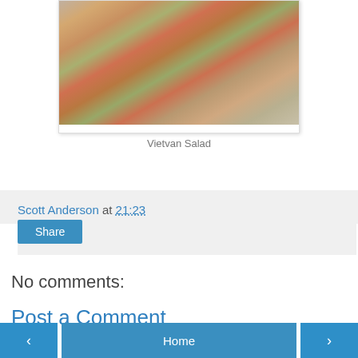[Figure (photo): A bowl of Vietvan Salad with mixed vegetables, shredded carrots, green vegetables, red peppers, and toppings]
Vietvan Salad
Scott Anderson at 21:23
Share
No comments:
Post a Comment
‹  Home  ›